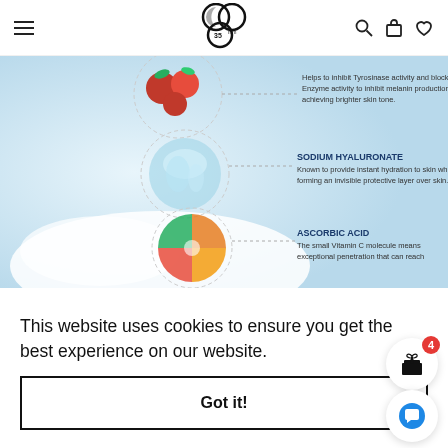35mm website navigation bar with logo, hamburger menu, search, cart, and wishlist icons
[Figure (infographic): Product ingredient infographic showing skincare ingredients: Sodium Hyaluronate — Known to provide instant hydration to skin while forming an invisible protective layer over skin. Ascorbic Acid — The small Vitamin C molecule means exceptional penetration that can reach. Also partial text: Helps to inhibit Tyrosinase activity and blocks Enzyme activity to inhibit melanin production; thereby achieving brighter skin tone.]
This website uses cookies to ensure you get the best experience on our website.
Got it!